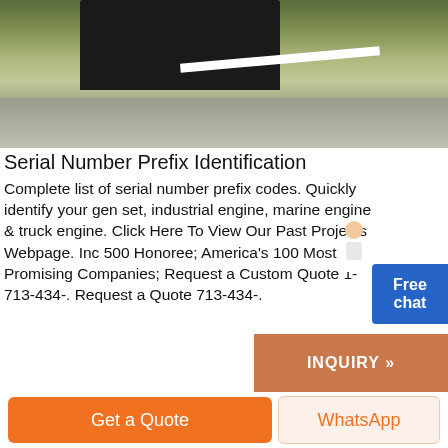[Figure (photo): Aerial or overhead view of road/pavement with vehicle or equipment partially visible, grassy area on left side]
Serial Number Prefix Identification
Complete list of serial number prefix codes. Quickly identify your gen set, industrial engine, marine engine & truck engine. Click Here To View Our Past Projects Webpage. Inc 500 Honoree; America's 100 Most Promising Companies; Request a Custom Quote 1-713-434-. Request a Quote 713-434-.
[Figure (photo): Close-up photo of cardboard box opened, containing white packing material and parts inside]
Get a Quote
WhatsApp